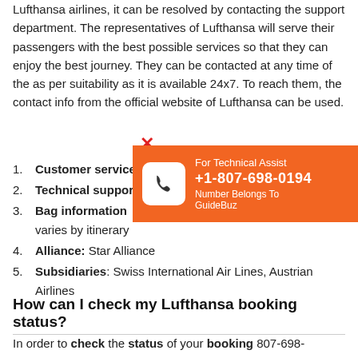Lufthansa airlines, it can be resolved by contacting the support department. The representatives of Lufthansa will serve their passengers with the best possible services so that they can enjoy the best journey. They can be contacted at any time of the as per suitability as it is available 24x7. To reach them, the contact info from the official website of Lufthansa can be used.
1. Customer service
2. Technical support
3. Bag information varies by itinerary
4. Alliance: Star Alliance
5. Subsidiaries: Swiss International Air Lines, Austrian Airlines
[Figure (infographic): Orange banner overlay with phone icon and text: For Technical Assist +1-807-698-0194 Number Belongs To GuideBuz]
How can I check my Lufthansa booking status?
In order to check the status of your booking 807-698-